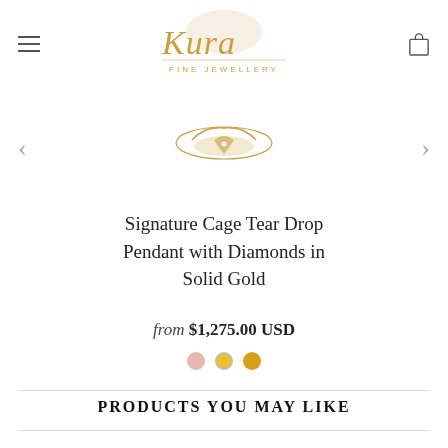[Figure (logo): Kura Fine Jewellery logo in gold script font with decorative element]
[Figure (photo): Gold tear drop cage pendant jewelry product photo on white background]
Signature Cage Tear Drop Pendant with Diamonds in Solid Gold
from $1,275.00 USD
[Figure (illustration): Three color swatches: rose/pink, yellow gold, gold]
PRODUCTS YOU MAY LIKE